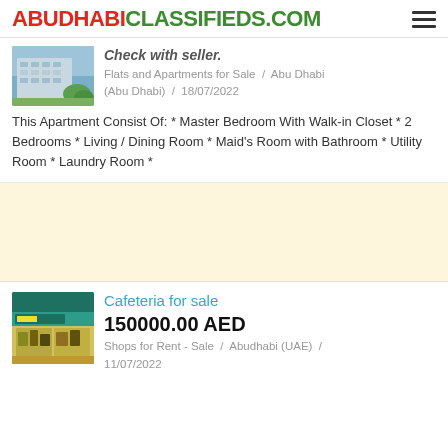ABUDHABICLASSIFIEDS.COM
Check with seller
Flats and Apartments for Sale / Abu Dhabi (Abu Dhabi) / 18/07/2022
This Apartment Consist Of: * Master Bedroom With Walk-in Closet * 2 Bedrooms * Living / Dining Room * Maid's Room with Bathroom * Utility Room * Laundry Room *
[Figure (photo): Building exterior photo thumbnail]
[Figure (other): Advertisement banner with beige background]
[Figure (photo): Cafeteria/shop front photo thumbnail]
Cafeteria for sale
150000.00 AED
Shops for Rent - Sale / Abudhabi (UAE) / 11/07/2022